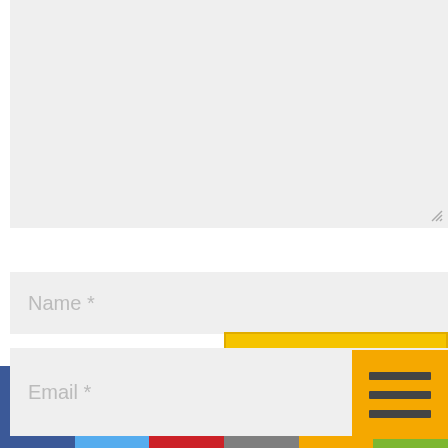[Figure (screenshot): Textarea input field (grey background) with resize handle at bottom-right]
[Figure (screenshot): Name text input field with placeholder 'Name *']
[Figure (screenshot): Email text input field with placeholder 'Email *' and yellow hamburger menu button overlapping top-right]
[Figure (screenshot): Website text input field with placeholder 'Website']
Save my name, email, and website in this browser for the next time I comment.
[Figure (screenshot): Social sharing bar with Facebook, Twitter, Pinterest, Email, SMS, and Share buttons]